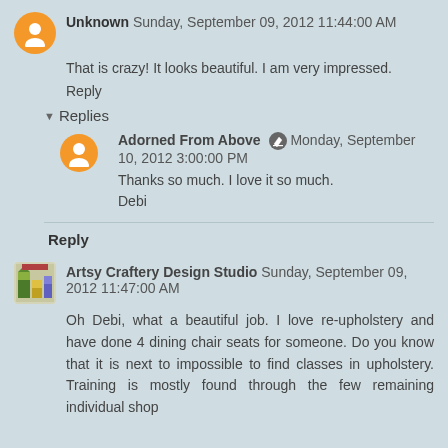Unknown  Sunday, September 09, 2012 11:44:00 AM
That is crazy! It looks beautiful. I am very impressed.
Reply
Replies
Adorned From Above  Monday, September 10, 2012 3:00:00 PM
Thanks so much. I love it so much.
Debi
Reply
Artsy Craftery Design Studio  Sunday, September 09, 2012 11:47:00 AM
Oh Debi, what a beautiful job. I love re-upholstery and have done 4 dining chair seats for someone. Do you know that it is next to impossible to find classes in upholstery. Training is mostly found through the few remaining individual shop